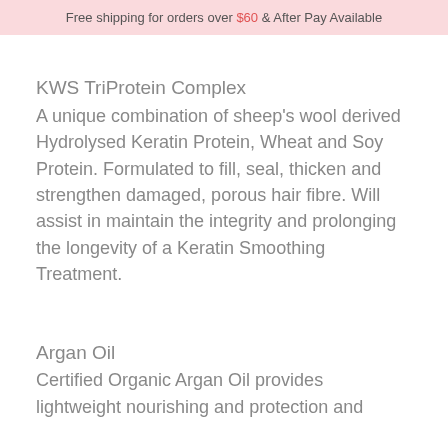Free shipping for orders over $60 & After Pay Available
KWS TriProtein Complex
A unique combination of sheep's wool derived Hydrolysed Keratin Protein, Wheat and Soy Protein. Formulated to fill, seal, thicken and strengthen damaged, porous hair fibre. Will assist in maintain the integrity and prolonging the longevity of a Keratin Smoothing Treatment.
Argan Oil
Certified Organic Argan Oil provides lightweight nourishing and protection and